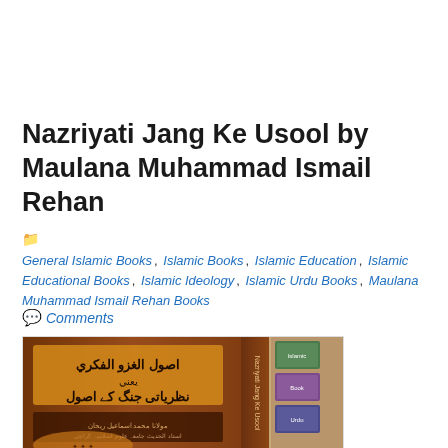Nazriyati Jang Ke Usool by Maulana Muhammad Ismail Rehan
General Islamic Books, Islamic Books, Islamic Education, Islamic Educational Books, Islamic Ideology, Islamic Urdu Books, Maulana Muhammad Ismail Rehan Books
Comments
[Figure (photo): Photo of two Urdu/Arabic books titled Nazriyati Jang Ke Usool (Usool al-Ghazw al-Fikri), showing the front cover and spine of the books with decorative Islamic design.]